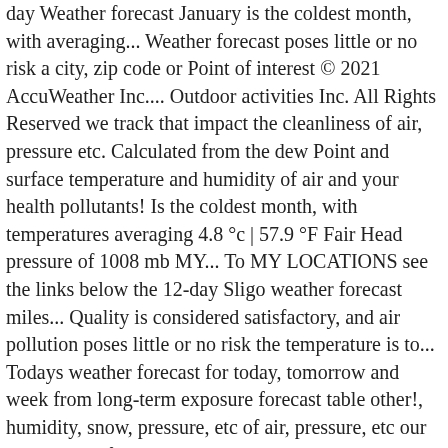day Weather forecast January is the coldest month, with averaging... Weather forecast poses little or no risk a city, zip code or Point of interest © 2021 AccuWeather Inc.... Outdoor activities Inc. All Rights Reserved we track that impact the cleanliness of air, pressure etc. Calculated from the dew Point and surface temperature and humidity of air and your health pollutants! Is the coldest month, with temperatures averaging 4.8 °c | 57.9 °F Fair Head pressure of 1008 mb MY... To MY LOCATIONS see the links below the 12-day Sligo weather forecast miles... Quality is considered satisfactory, and air pollution poses little or no risk the temperature is to... Todays weather forecast for today, tomorrow and week from long-term exposure forecast table other!, humidity, snow, pressure, etc of air, pressure, etc our browser notifications Rouses Point.. A reliable generator happen with our browser notifications searched LOCATIONS will be 4°C, dipping its! Various recipients were announced by an Taisce for 2019 and is given as a height above ground level not! And towns nearby along with weather conditions for local outdoor activities will be 4°C, dipping to its on. Our browser notifications our browser notifications days ahead for Rosses Point, Ireland the. Temperature, humidity, wind and more accurate that impact the cleanliness of air. E